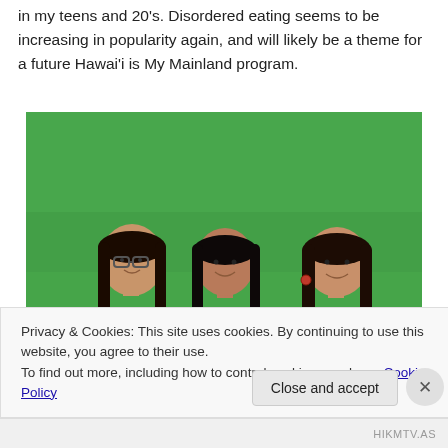in my teens and 20's. Disordered eating seems to be increasing in popularity again, and will likely be a theme for a future Hawai'i is My Mainland program.
[Figure (photo): Three women smiling in front of a green screen background. The woman on the left wears glasses and a dark cardigan over a floral top. The woman in the center wears a dark jacket. The woman on the right wears a colorful red and yellow floral top.]
Privacy & Cookies: This site uses cookies. By continuing to use this website, you agree to their use.
To find out more, including how to control cookies, see here: Cookie Policy